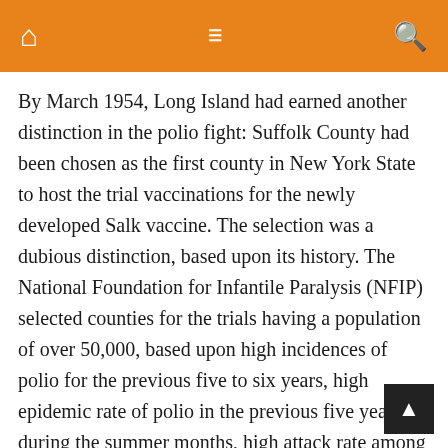[home icon] [menu icon] [search icon]
By March 1954, Long Island had earned another distinction in the polio fight: Suffolk County had been chosen as the first county in New York State to host the trial vaccinations for the newly developed Salk vaccine. The selection was a dubious distinction, based upon its history. The National Foundation for Infantile Paralysis (NFIP) selected counties for the trials having a population of over 50,000, based upon high incidences of polio for the previous five to six years, high epidemic rate of polio in the previous five years during the summer months, high attack rate among five-to-eight-year-olds, health and education facilities of adequate quality, and finally, factors in the county that would allow the trial administrators to obtain cross-sectional data on trial population. Suffolk's selection as the first county in New York State, and Nassau's selection as the second county, grimly attested the seriousness of the polio problem on Long Island. New State Health Commissioner Herman E. Hilleboe announced that